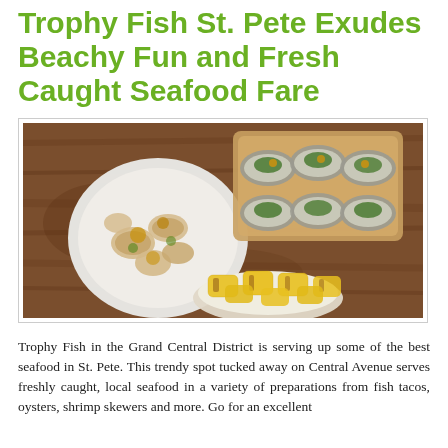Trophy Fish St. Pete Exudes Beachy Fun and Fresh Caught Seafood Fare
[Figure (photo): Overhead view of seafood dishes on a wooden table: a white bowl with clams and garnish, a wooden board with oysters topped with herbs and cheese, and a bowl of grilled corn on the cob pieces.]
Trophy Fish in the Grand Central District is serving up some of the best seafood in St. Pete. This trendy spot tucked away on Central Avenue serves freshly caught, local seafood in a variety of preparations from fish tacos, oysters, shrimp skewers and more. Go for an excellent